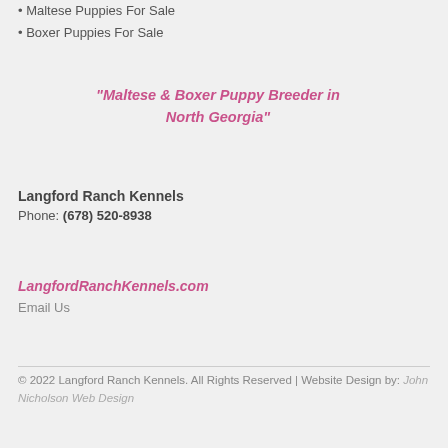• Maltese Puppies For Sale
• Boxer Puppies For Sale
"Maltese & Boxer Puppy Breeder in North Georgia"
Langford Ranch Kennels
Phone: (678) 520-8938
LangfordRanchKennels.com
Email Us
© 2022 Langford Ranch Kennels. All Rights Reserved | Website Design by: John Nicholson Web Design